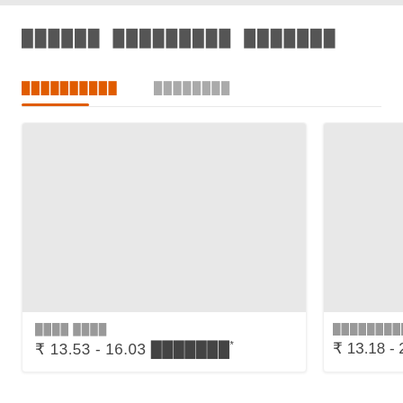█████████ ██████████ ████████
██████████  ████████
[Figure (photo): Product card image placeholder - light gray rectangle]
████ ████
₹ 13.53 - 16.03 ███████*
[Figure (photo): Product card image placeholder - light gray rectangle (partially visible)]
█████████700 ████
₹ 13.18 - 24.58...